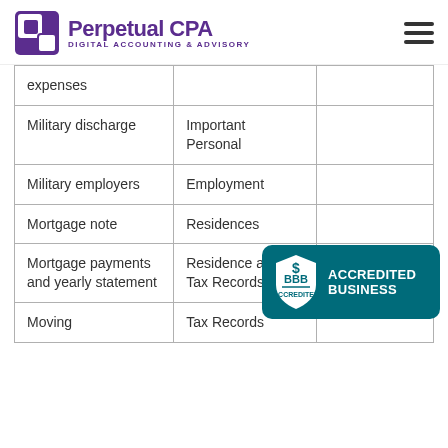Perpetual CPA — DIGITAL ACCOUNTING & ADVISORY
| Item | Category |  |
| --- | --- | --- |
| expenses |  |  |
| Military discharge | Important Personal |  |
| Military employers | Employment |  |
| Mortgage note | Residences |  |
| Mortgage payments and yearly statement | Residence and/or Tax Records |  |
| Moving | Tax Records |  |
[Figure (logo): BBB Accredited Business badge in teal/dark cyan with BBB logo]